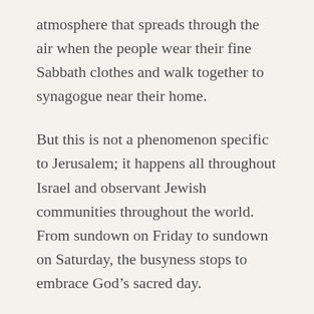atmosphere that spreads through the air when the people wear their fine Sabbath clothes and walk together to synagogue near their home.
But this is not a phenomenon specific to Jerusalem; it happens all throughout Israel and observant Jewish communities throughout the world. From sundown on Friday to sundown on Saturday, the busyness stops to embrace God’s sacred day.
Shabbat – or “Sabbath” – is a sign of the eternal covenant between God and the people of Israel.
“Between Me and the children of Israel, it is forever a